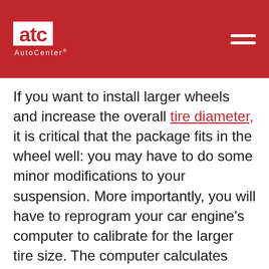atc AutoCenter
If you want to install larger wheels and increase the overall tire diameter, it is critical that the package fits in the wheel well: you may have to do some minor modifications to your suspension. More importantly, you will have to reprogram your car engine’s computer to calibrate for the larger tire size. The computer calculates your speed based on the rotation of your tires, so increasing the size of the tires will render it inaccurate. Inaccurate speed calculations can mess up your anti-lock brakes and your stability control systems, as well as your speedometer and odometer.